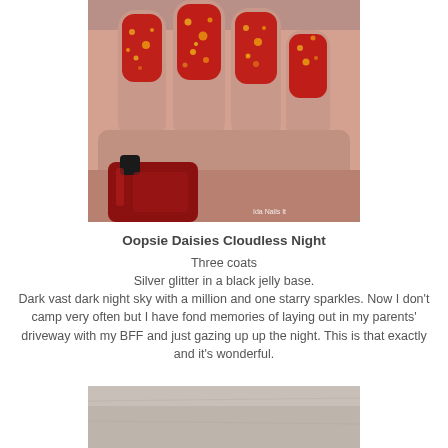[Figure (photo): Close-up photo of a hand with red glitter nail polish, showing four fingers. The nails are painted deep red with orange/gold glitter sparkles. A bottle of red nail polish is partially visible at the bottom. Watermark reads 'Ida Nails It'.]
Oopsie Daisies Cloudless Night
Three coats
Silver glitter in a black jelly base.
Dark vast dark night sky with a million and one starry sparkles. Now I don't camp very often but I have fond memories of laying out in my parents' driveway with my BFF and just gazing up up the night. This is that exactly and it's wonderful.
[Figure (photo): Partial photo visible at bottom of page, appears to show a light grey/beige surface, possibly a stone or marble texture.]